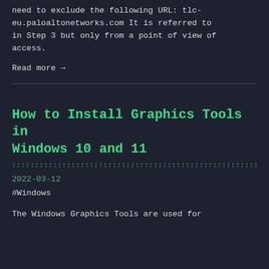need to exclude the following URL: tlc-eu.paloaltonetworks.com It is referred to in Step 3 but only from a point of view of access.
Read more →
How to Install Graphics Tools in Windows 10 and 11
2022-03-12
#Windows
The Windows Graphics Tools are used for